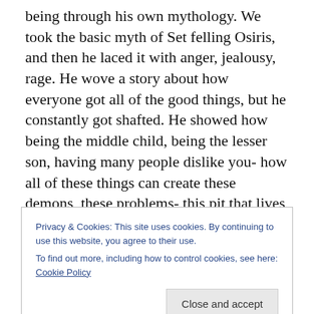being through his own mythology. We took the basic myth of Set felling Osiris, and then he laced it with anger, jealousy, rage. He wove a story about how everyone got all of the good things, but he constantly got shafted. He showed how being the middle child, being the lesser son, having many people dislike you- how all of these things can create these demons, these problems- this pit that lives in your heart. He took every myth I could find of him, and warped it into something dark and angry. I have no clue if he actually felt some of this stuff in correlation to the myths, or if it's reverb from people warping the myths
Privacy & Cookies: This site uses cookies. By continuing to use this website, you agree to their use.
To find out more, including how to control cookies, see here: Cookie Policy
Close and accept